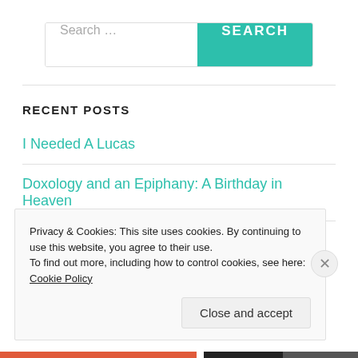[Figure (screenshot): Search bar with text input placeholder 'Search ...' and a teal 'SEARCH' button]
RECENT POSTS
I Needed A Lucas
Doxology and an Epiphany: A Birthday in Heaven
A Tremendous Thing
Privacy & Cookies: This site uses cookies. By continuing to use this website, you agree to their use.
To find out more, including how to control cookies, see here: Cookie Policy
Close and accept